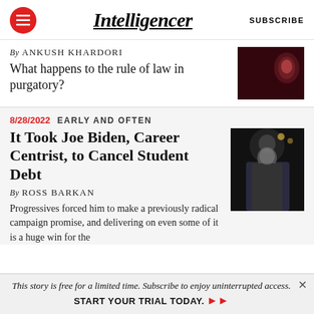Intelligencer | SUBSCRIBE
By ANKUSH KHARDORI
What happens to the rule of law in purgatory?
[Figure (photo): Dark red-toned photo of a person in a suit with red tie]
8/28/2022  EARLY AND OFTEN
It Took Joe Biden, Career Centrist, to Cancel Student Debt
By ROSS BARKAN
Progressives forced him to make a previously radical campaign promise, and delivering on even some of it is a huge win for the left.
[Figure (photo): Dark photo of Joe Biden speaking on stage with microphone]
This story is free for a limited time. Subscribe to enjoy uninterrupted access.  START YOUR TRIAL TODAY. ➜